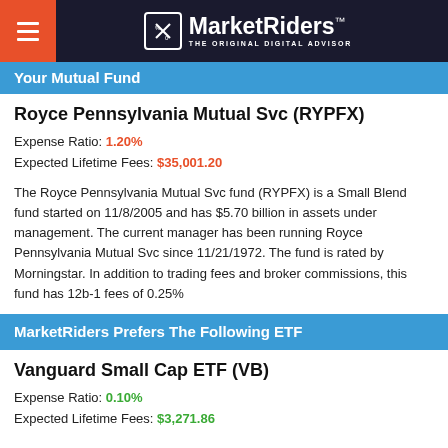MarketRiders THE ORIGINAL DIGITAL ADVISOR
Your Mutual Fund
Royce Pennsylvania Mutual Svc (RYPFX)
Expense Ratio: 1.20%
Expected Lifetime Fees: $35,001.20
The Royce Pennsylvania Mutual Svc fund (RYPFX) is a Small Blend fund started on 11/8/2005 and has $5.70 billion in assets under management. The current manager has been running Royce Pennsylvania Mutual Svc since 11/21/1972. The fund is rated by Morningstar. In addition to trading fees and broker commissions, this fund has 12b-1 fees of 0.25%
MarketRiders Prefers The Following ETF
Vanguard Small Cap ETF (VB)
Expense Ratio: 0.10%
Expected Lifetime Fees: $3,271.86